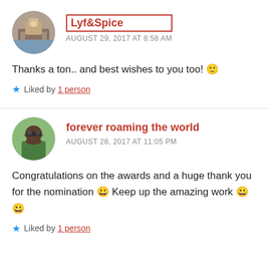[Figure (photo): Circular avatar photo of Lyf&Spice user showing a temple/landscape scene]
Lyf&Spice
AUGUST 29, 2017 AT 8:58 AM
Thanks a ton.. and best wishes to you too! 🙂
★ Liked by 1 person
[Figure (photo): Circular avatar photo of forever roaming the world user showing a person with sunglasses outdoors]
forever roaming the world
AUGUST 28, 2017 AT 11:05 PM
Congratulations on the awards and a huge thank you for the nomination 😀 Keep up the amazing work 😀 😀
★ Liked by 1 person